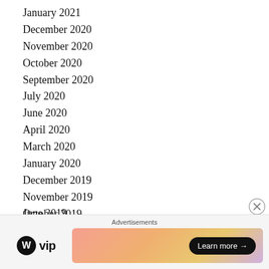January 2021
December 2020
November 2020
October 2020
September 2020
July 2020
June 2020
April 2020
March 2020
January 2020
December 2019
November 2019
October 2019
September 2019
July 2019
June 2019
[Figure (infographic): Advertisements banner: WordPress VIP logo on left, gradient banner on right with 'Learn more →' button]
Advertisements